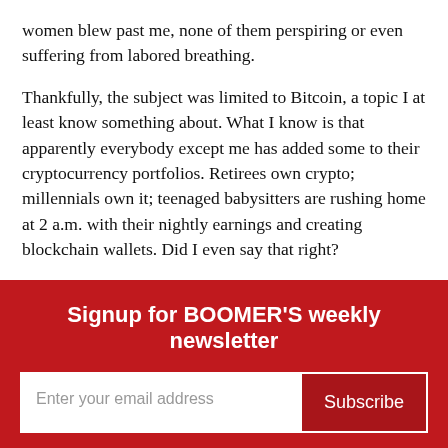women blew past me, none of them perspiring or even suffering from labored breathing.
Thankfully, the subject was limited to Bitcoin, a topic I at least know something about. What I know is that apparently everybody except me has added some to their cryptocurrency portfolios. Retirees own crypto; millennials own it; teenaged babysitters are rushing home at 2 a.m. with their nightly earnings and creating blockchain wallets. Did I even say that right?
Following passage of the $1.9 trillion rescue bill on March 11, I did indeed receive a $1,400 stimulus check.
Signup for BOOMER'S weekly newsletter
Enter your email address
Subscribe